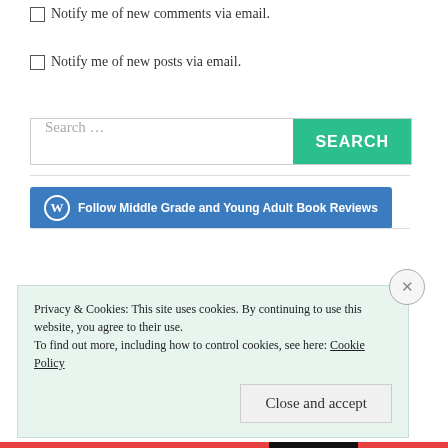Notify me of new comments via email.
Notify me of new posts via email.
[Figure (screenshot): Search bar with teal SEARCH button]
[Figure (screenshot): Follow Middle Grade and Young Adult Book Reviews button (blue)]
Privacy & Cookies: This site uses cookies. By continuing to use this website, you agree to their use. To find out more, including how to control cookies, see here: Cookie Policy
Close and accept